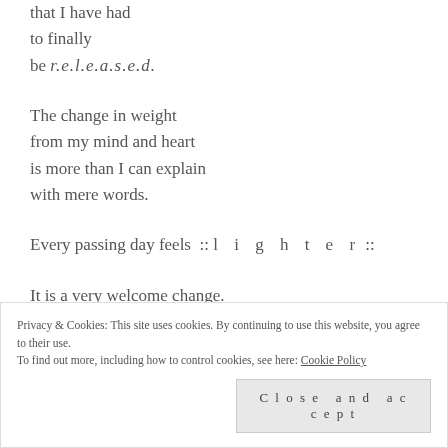that I have had
to finally
be r.e.l.e.a.s.e.d.
The change in weight
from my mind and heart
is more than I can explain
with mere words.
Every passing day feels  :: l i g h t e r ::.
It is a very welcome change.
Privacy & Cookies: This site uses cookies. By continuing to use this website, you agree to their use.
To find out more, including how to control cookies, see here: Cookie Policy
Close and accept